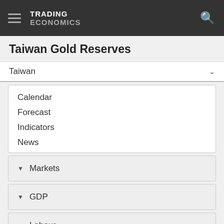TRADING ECONOMICS
Taiwan Gold Reserves
Taiwan
Calendar
Forecast
Indicators
News
Markets
GDP
Labour
Prices